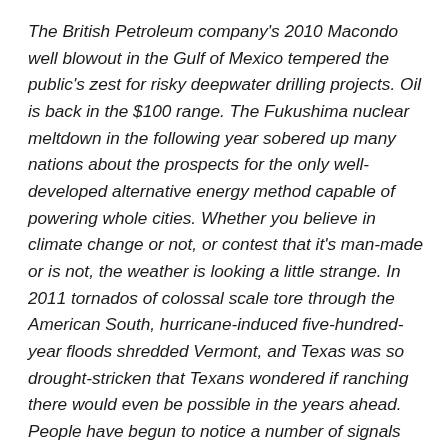The British Petroleum company's 2010 Macondo well blowout in the Gulf of Mexico tempered the public's zest for risky deepwater drilling projects. Oil is back in the $100 range. The Fukushima nuclear meltdown in the following year sobered up many nations about the prospects for the only well-developed alternative energy method capable of powering whole cities. Whether you believe in climate change or not, or contest that it's man-made or is not, the weather is looking a little strange. In 2011 tornados of colossal scale tore through the American South, hurricane-induced five-hundred-year floods shredded Vermont, and Texas was so drought-stricken that Texans wondered if ranching there would even be possible in the years ahead. People have begun to notice a number of signals that reality is beaming out.